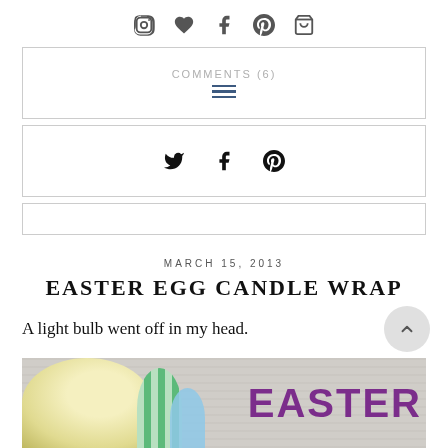Social icons: Instagram, heart, Facebook, Pinterest, basket
COMMENTS (6)
[Figure (screenshot): Share bar with Twitter, Facebook, Pinterest icons]
[Figure (screenshot): Empty navigation/search bar]
MARCH 15, 2013
EASTER EGG CANDLE WRAP
A light bulb went off in my head.
[Figure (photo): Photo of Easter egg candle wrap craft with yellow candle, striped and blue eggs on wooden background with purple EASTER text overlay]